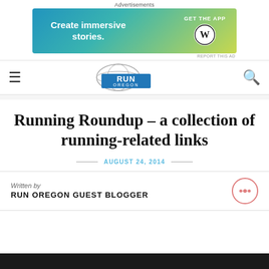Advertisements
[Figure (other): Advertisement banner with gradient background (teal to yellow-green) reading 'Create immersive stories.' with WordPress logo and 'GET THE APP' text]
[Figure (logo): Run Oregon logo with globe graphic and blue rectangular text block reading 'RUN OREGON']
Running Roundup – a collection of running-related links
AUGUST 24, 2014
Written by
RUN OREGON GUEST BLOGGER